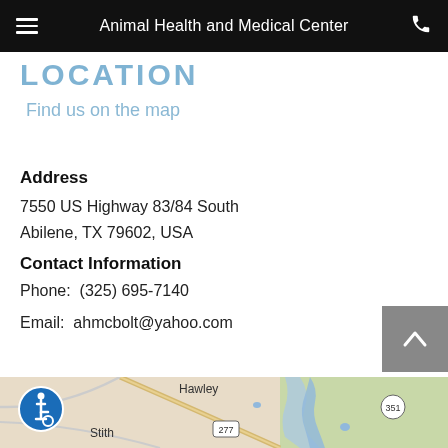Animal Health and Medical Center
LOCATION
Find us on the map
Address
7550 US Highway 83/84 South
Abilene, TX 79602, USA
Contact Information
Phone:  (325) 695-7140
Email:  ahmcbolt@yahoo.com
[Figure (map): Google Maps showing area around Hawley and Stith, TX with roads including highways 277 and 351]